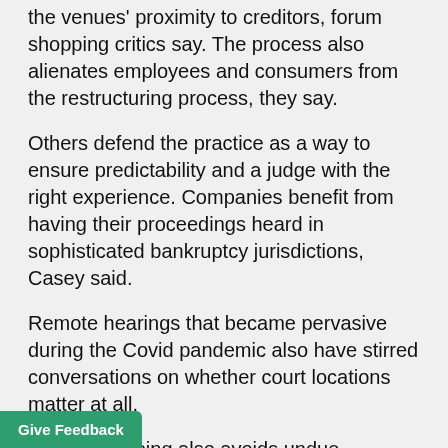the venues' proximity to creditors, forum shopping critics say. The process also alienates employees and consumers from the restructuring process, they say.
Others defend the practice as a way to ensure predictability and a judge with the right experience. Companies benefit from having their proceedings heard in sophisticated bankruptcy jurisdictions, Casey said.
Remote hearings that became pervasive during the Covid pandemic also have stirred conversations on whether court locations matter at all.
Forum shopping also avoids undue influence from local politicians in situations where a case affects their constituencies, Casey said.
Manufacturing Jurisdiction
decades of legislative efforts in both f Congress have failed to gain much